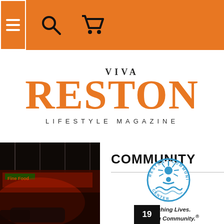[Figure (screenshot): Orange navigation bar with hamburger menu icon (in white-bordered box), search icon, and shopping cart icon]
VIVA RESTON LIFESTYLE MAGAZINE
COMMUNITY
[Figure (logo): Reston Community Center circular logo with person figure and rays, text reading RESTON · COMMUNITY · CENTER around the border]
Enriching Lives. Building Community.®
19